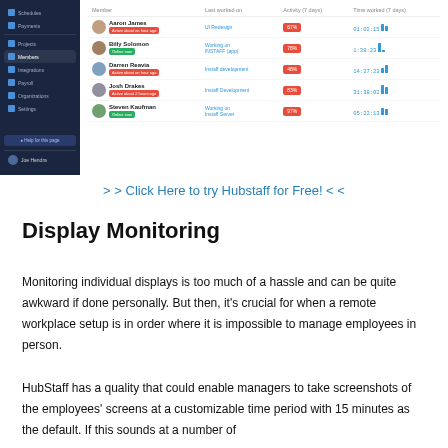[Figure (screenshot): Screenshot of Hubstaff dashboard showing a members table with columns: Member, Last worked on, Activity (7 days), Time worked (7 days). Members listed: Aaron James (Active about an hour ago), Billy Solomon (Online now), Darren Reavia (Active about an hour ago), Josh Drakes (Active about 2 hours ago), Steven Kaufman (Online now). Left sidebar shows navigation: Schedules, Payments, Projects, Members, Integrations, Payroll, Organizations, Settings, Help for this page, Joe Hendra user.]
> > Click Here to try Hubstaff for Free! < <
Display Monitoring
Monitoring individual displays is too much of a hassle and can be quite awkward if done personally. But then, it's crucial for when a remote workplace setup is in order where it is impossible to manage employees in person.
HubStaff has a quality that could enable managers to take screenshots of the employees' screens at a customizable time period with 15 minutes as the default. If this sounds at a number of